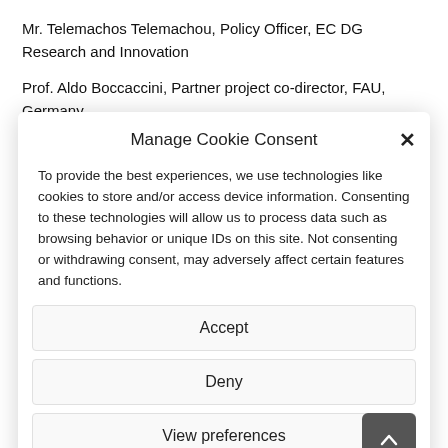Mr. Telemachos Telemachou, Policy Officer, EC DG Research and Innovation
Prof. Aldo Boccaccini, Partner project co-director, FAU, Germany
Prof. Enrico Bernardo, Partner project co-director, UNIPD, Italy
Manage Cookie Consent
To provide the best experiences, we use technologies like cookies to store and/or access device information. Consenting to these technologies will allow us to process data such as browsing behavior or unique IDs on this site. Not consenting or withdrawing consent, may adversely affect certain features and functions.
Accept
Deny
View preferences